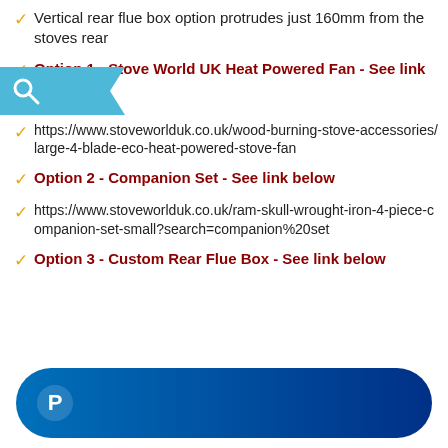Vertical rear flue box option protrudes just 160mm from the stoves rear
Option 1 - Stove World UK Heat Powered Fan - See link below
https://www.stoveworlduk.co.uk/wood-burning-stove-accessories/large-4-blade-eco-heat-powered-stove-fan
Option 2 - Companion Set - See link below
https://www.stoveworlduk.co.uk/ram-skull-wrought-iron-4-piece-companion-set-small?search=companion%20set
Option 3 - Custom Rear Flue Box - See link below
[Figure (logo): PayPal payment button - blue rounded rectangle with white PayPal P logo]